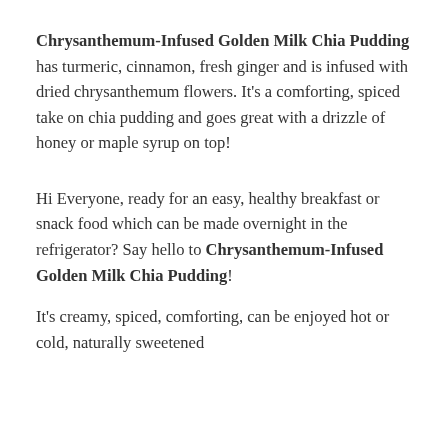Chrysanthemum-Infused Golden Milk Chia Pudding has turmeric, cinnamon, fresh ginger and is infused with dried chrysanthemum flowers. It's a comforting, spiced take on chia pudding and goes great with a drizzle of honey or maple syrup on top!
Hi Everyone, ready for an easy, healthy breakfast or snack food which can be made overnight in the refrigerator? Say hello to Chrysanthemum-Infused Golden Milk Chia Pudding!
It's creamy, spiced, comforting, can be enjoyed hot or cold, naturally sweetened